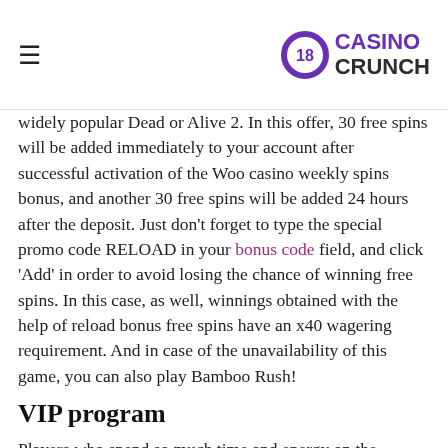≡ CASINO CRUNCH
widely popular Dead or Alive 2. In this offer, 30 free spins will be added immediately to your account after successful activation of the Woo casino weekly spins bonus, and another 30 free spins will be added 24 hours after the deposit. Just don't forget to type the special promo code RELOAD in your bonus code field, and click 'Add' in order to avoid losing the chance of winning free spins. In this case, as well, winnings obtained with the help of reload bonus free spins have an x40 wagering requirement. And in case of the unavailability of this game, you can also play Bamboo Rush!
VIP program
Players who spend so much time and energy on the website, usually become the VIP ones, and the chances that you'll get additional free spins, in that case, are